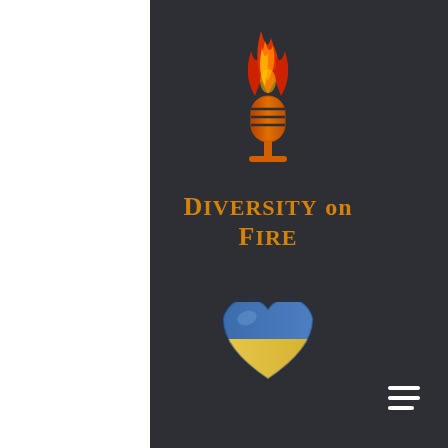[Figure (logo): Flaming microphone logo icon with orange and red flames on top of a gold/orange microphone, on dark background]
Diversity on Fire
[Figure (illustration): Heart shape colored with Ukrainian flag colors - blue on top half and yellow on bottom half]
[Figure (other): Hamburger menu icon (three horizontal white lines) in bottom right corner]